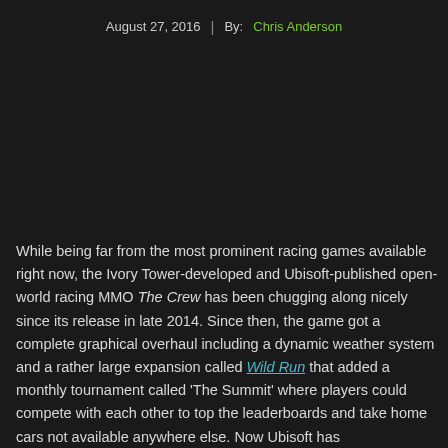August 27, 2016  |  By: Chris Anderson
While being far from the most prominent racing games available right now, the Ivory Tower-developed and Ubisoft-published open-world racing MMO The Crew has been chugging along nicely since its release in late 2014. Since then, the game got a complete graphical overhaul including a dynamic weather system and a rather large expansion called Wild Run that added a monthly tournament called 'The Summit' where players could compete with each other to top the leaderboards and take home cars not available anywhere else. Now Ubisoft has